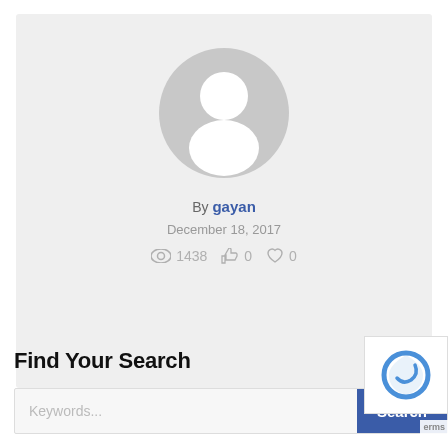[Figure (illustration): Default user profile avatar: grey circle with white silhouette of a person (head and shoulders)]
By gayan
December 18, 2017
1438  0  0
Find Your Search
Keywords...
Search